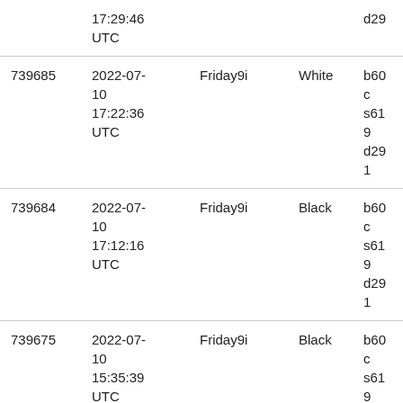|  | 17:29:46 UTC |  |  | d29... |
| 739685 | 2022-07-10 17:22:36 UTC | Friday9i | White | b60... s619... d291... |
| 739684 | 2022-07-10 17:12:16 UTC | Friday9i | Black | b60... s619... d291... |
| 739675 | 2022-07-10 15:35:39 UTC | Friday9i | Black | b60... s619... d291... |
| 737877 | 2022-07-06 | □□2022 | White | b60... s624... |